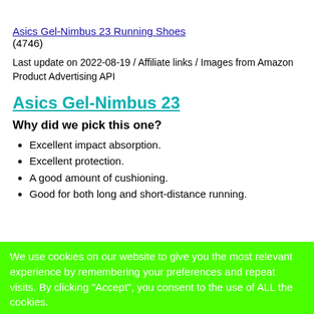Asics Gel-Nimbus 23 Running Shoes
(4746)
Last update on 2022-08-19 / Affiliate links / Images from Amazon Product Advertising API
Asics Gel-Nimbus 23
Why did we pick this one?
Excellent impact absorption.
Excellent protection.
A good amount of cushioning.
Good for both long and short-distance running.
We use cookies on our website to give you the most relevant experience by remembering your preferences and repeat visits. By clicking "Accept", you consent to the use of ALL the cookies.